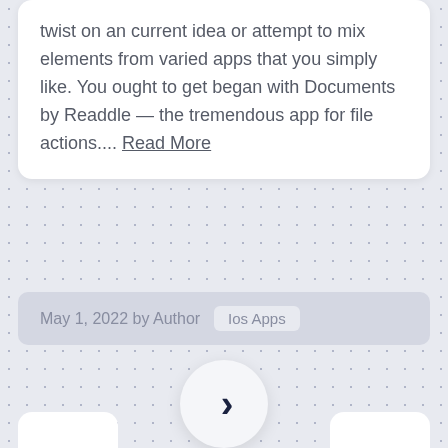twist on an current idea or attempt to mix elements from varied apps that you simply like. You ought to get began with Documents by Readdle — the tremendous app for file actions.... Read More
May 1, 2022 by Author  Ios Apps
[Figure (other): A circular navigation button with a right-pointing chevron arrow on a dotted light gray background]